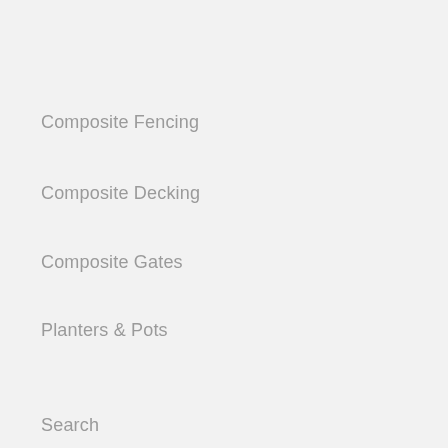Composite Fencing
Composite Decking
Composite Gates
Planters & Pots
Search